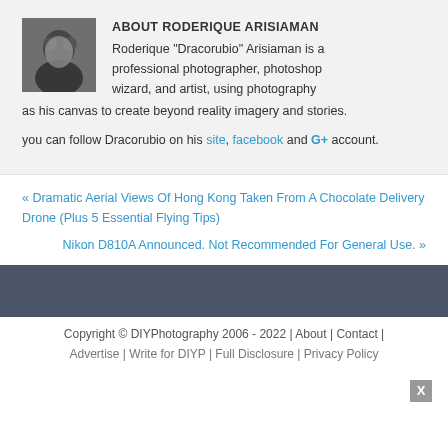ABOUT RODERIQUE ARISIAMAN
[Figure (photo): Black and white photo of Roderique Arisiaman]
Roderique "Dracorubio" Arisiaman is a professional photographer, photoshop wizard, and artist, using photography as his canvas to create beyond reality imagery and stories.
you can follow Dracorubio on his site, facebook and G+ account.
« Dramatic Aerial Views Of Hong Kong Taken From A Chocolate Delivery Drone (Plus 5 Essential Flying Tips)
Nikon D810A Announced. Not Recommended For General Use. »
Copyright © DIYPhotography 2006 - 2022 | About | Contact | Advertise | Write for DIYP | Full Disclosure | Privacy Policy